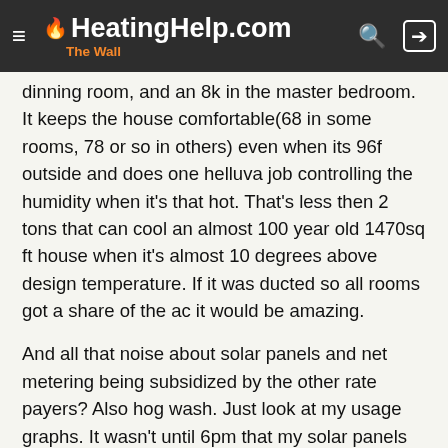HeatingHelp.com The Wall
dinning room, and an 8k in the master bedroom. It keeps the house comfortable(68 in some rooms, 78 or so in others) even when its 96f outside and does one helluva job controlling the humidity when it's that hot. That's less then 2 tons that can cool an almost 100 year old 1470sq ft house when it's almost 10 degrees above design temperature. If it was ducted so all rooms got a share of the ac it would be amazing.
And all that noise about solar panels and net metering being subsidized by the other rate payers? Also hog wash. Just look at my usage graphs. It wasn't until 6pm that my solar panels were no longer offsetting my usage, and a good chunk of the day I was powering a couple of my neighbors houses too.
All of the angry people with a grudge against ev's and